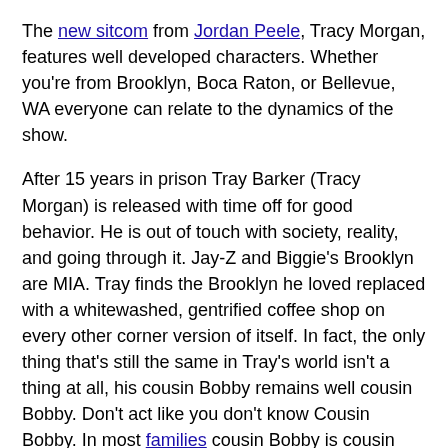The new sitcom from Jordan Peele, Tracy Morgan, features well developed characters. Whether you're from Brooklyn, Boca Raton, or Bellevue, WA everyone can relate to the dynamics of the show.
After 15 years in prison Tray Barker (Tracy Morgan) is released with time off for good behavior. He is out of touch with society, reality, and going through it. Jay-Z and Biggie's Brooklyn are MIA. Tray finds the Brooklyn he loved replaced with a whitewashed, gentrified coffee shop on every other corner version of itself. In fact, the only thing that's still the same in Tray's world isn't a thing at all, his cousin Bobby remains well cousin Bobby. Don't act like you don't know Cousin Bobby. In most families cousin Bobby is cousin Ray Ray, cousin Pookie, Mookie, your Uncle Keith, Darnell, or Tyrone. Tray tries to comes to grips with all the changes and make up for lost time.